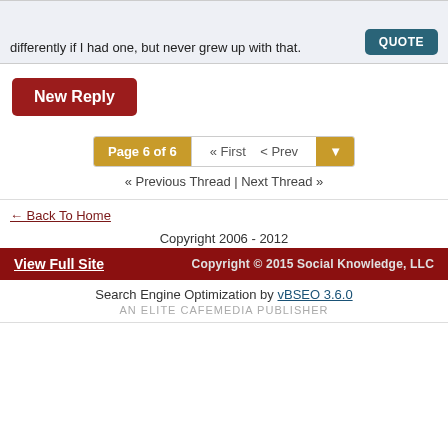differently if I had one, but never grew up with that.
QUOTE
New Reply
Page 6 of 6  « First  < Prev
« Previous Thread | Next Thread »
← Back To Home
Copyright 2006 - 2012
View Full Site    Copyright © 2015 Social Knowledge, LLC
Search Engine Optimization by vBSEO 3.6.0
AN ELITE CAFEMEDIA PUBLISHER